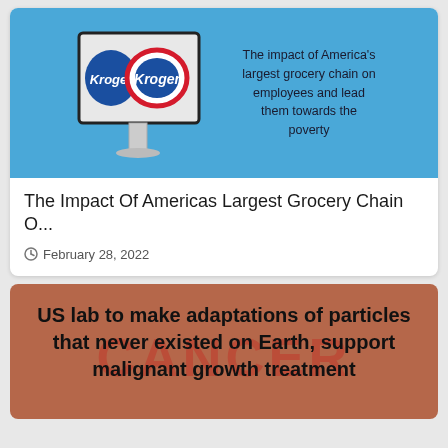[Figure (photo): Kroger grocery store outdoor sign on a blue sky background with text overlay about impact on employees and poverty]
The Impact Of Americas Largest Grocery Chain O...
February 28, 2022
[Figure (infographic): Brown/rust colored background with CANCER watermark text and bold headline about US lab making adaptations of particles that never existed on Earth to support malignant growth treatment]
US lab to make adaptations of particles that never existed on Earth, support malignant growth treatment